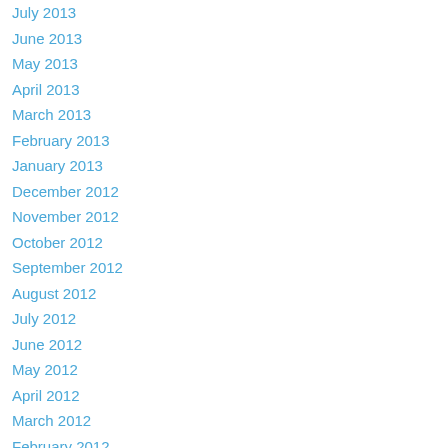July 2013
June 2013
May 2013
April 2013
March 2013
February 2013
January 2013
December 2012
November 2012
October 2012
September 2012
August 2012
July 2012
June 2012
May 2012
April 2012
March 2012
February 2012
January 2012
December 2011
Categories